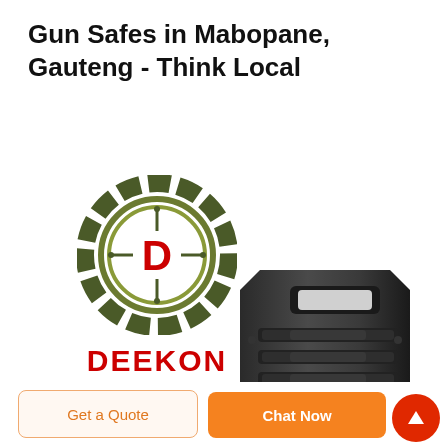Gun Safes in Mabopane, Gauteng - Think Local
[Figure (logo): DEEKON brand logo: circular target/crosshair design in camouflage green with red D letter in center, red DEEKON text below]
[Figure (photo): Dark grey/black gun safe product image, rectangular with textured ridged front panel, handle cutout at top, partially cropped]
Get a Quote
Chat Now